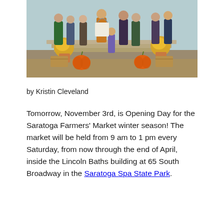[Figure (photo): Group photo of people gathered outdoors on steps during autumn, with pumpkins and yellow chrysanthemums in pots. People are dressed in fall clothing.]
by Kristin Cleveland
Tomorrow, November 3rd, is Opening Day for the Saratoga Farmers' Market winter season! The market will be held from 9 am to 1 pm every Saturday, from now through the end of April, inside the Lincoln Baths building at 65 South Broadway in the Saratoga Spa State Park.